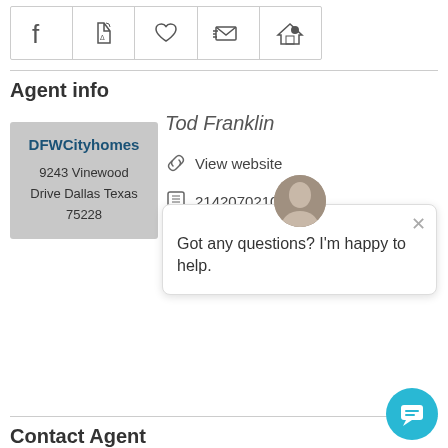[Figure (other): Row of five icon buttons: Facebook, PDF/Acrobat, Heart/Favorite, Email, Home agent icons in bordered cells]
Agent info
Tod Franklin
View website
2142070210
2142070210
DFWCityhomes
9243 Vinewood Drive Dallas Texas 75228
Got any questions? I'm happy to help.
Contact Agent